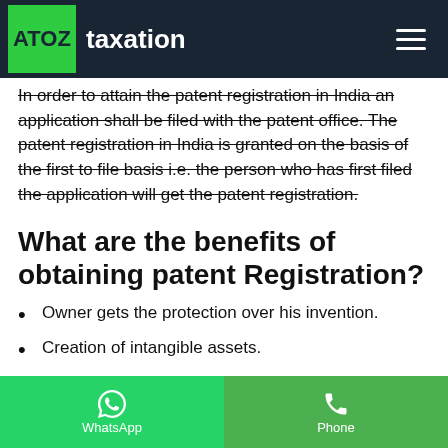ATOZ taxation
In order to attain the patent registration in India an application shall be filed with the patent office. The patent registration in India is granted on the basis of the first to file basis i.e. the person who has first filed the application will get the patent registration.
What are the benefits of obtaining patent Registration?
Owner gets the protection over his invention.
Creation of intangible assets.
Exclusive Rights Granted for 20